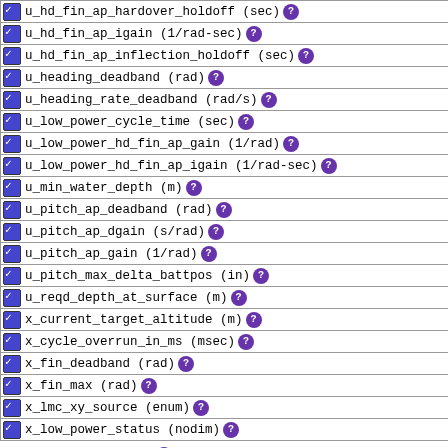u_hd_fin_ap_hardover_holdoff (sec) [checkbox checked] [>=] [help]
u_hd_fin_ap_igain (1/rad-sec) [checkbox checked] [>=] [help]
u_hd_fin_ap_inflection_holdoff (sec) [checkbox checked] [>=] [help]
u_heading_deadband (rad) [checkbox checked] [>=] [help]
u_heading_rate_deadband (rad/s) [checkbox checked] [>=] [help]
u_low_power_cycle_time (sec) [checkbox checked] [>=] [help]
u_low_power_hd_fin_ap_gain (1/rad) [checkbox checked] [>=] [help]
u_low_power_hd_fin_ap_igain (1/rad-sec) [checkbox checked] [>=] [help]
u_min_water_depth (m) [checkbox checked] [>=] [help]
u_pitch_ap_deadband (rad) [checkbox checked] [>=] [help]
u_pitch_ap_dgain (s/rad) [checkbox checked] [>=] [help]
u_pitch_ap_gain (1/rad) [checkbox checked] [>=] [help]
u_pitch_max_delta_battpos (in) [checkbox checked] [>=] [help]
u_reqd_depth_at_surface (m) [checkbox checked] [>=] [help]
x_current_target_altitude (m) [checkbox checked] [>=] [help]
x_cycle_overrun_in_ms (msec) [checkbox checked] [>=] [help]
x_fin_deadband (rad) [checkbox checked] [>=] [help]
x_fin_max (rad) [checkbox checked] [>=] [help]
x_lmc_xy_source (enum) [checkbox checked] [>=] [help]
x_low_power_status (nodim) [checkbox checked] [>=] [help]
Server-side Functions
distinct() [checkbox unchecked] [help]